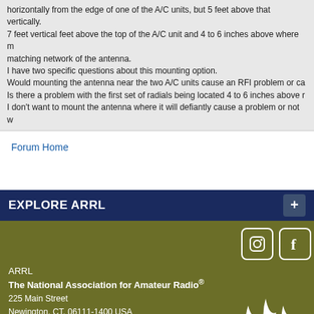horizontally from the edge of one of the A/C units, but 5 feet above that vertically. 7 feet vertical feet above the top of the A/C unit and 4 to 6 inches above where matching network of the antenna. I have two specific questions about this mounting option. Would mounting the antenna near the two A/C units cause an RFI problem or ca Is there a problem with the first set of radials being located 4 to 6 inches above r I don't want to mount the antenna where it will defiantly cause a problem or not w
Forum Home
EXPLORE ARRL
ARRL
The National Association for Amateur Radio®
225 Main Street
Newington, CT, 06111-1400 USA
Tel: 1-860-594-0200 | Fax: 1-860-594-0259
Toll-free: 1-888-277-5289
hq@arrl.org